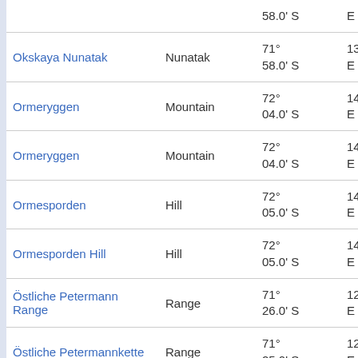| Name | Type | Latitude | Longitude |
| --- | --- | --- | --- |
| Okskaya Nunatak | Nunatak | 71° 58.0' S | 13° 47.0' E |
| Ormeryggen | Mountain | 72° 04.0' S | 14° 33.0' E |
| Ormeryggen | Mountain | 72° 04.0' S | 14° 32.0' E |
| Ormesporden | Hill | 72° 05.0' S | 14° 18.0' E |
| Ormesporden Hill | Hill | 72° 05.0' S | 14° 19.0' E |
| Östliche Petermann Range | Range | 71° 26.0' S | 12° 44.0' E |
| Östliche Petermannkette | Range | 71° 25.0' S | 12° 40.0' E |
| Ostrovskogo, skaly |  | 71° | 12° 43.0' |